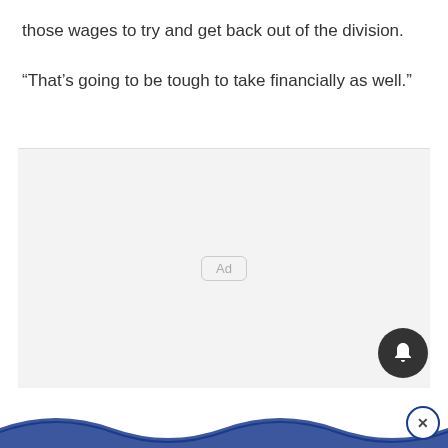those wages to try and get back out of the division.
“That’s going to be tough to take financially as well.”
[Figure (other): Advertisement placeholder box with 'Ad' label centered in a light gray area]
[Figure (other): Dark circular notification bell button icon in lower right of ad area, and a wave/banner bar at the bottom with a close (X) button]